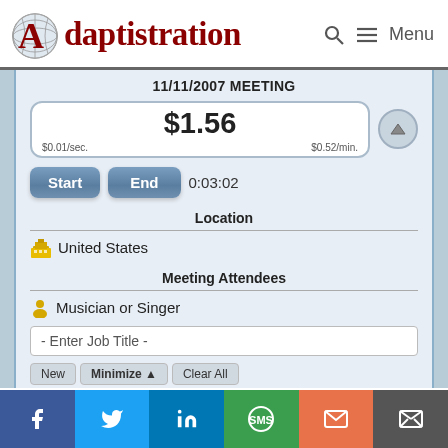Adaptistration — Menu
11/11/2007 MEETING
$1.56  $0.01/sec.  $0.52/min.
Start  End  0:03:02
Location
United States
Meeting Attendees
Musician or Singer
- Enter Job Title -
New  Minimize  Clear All